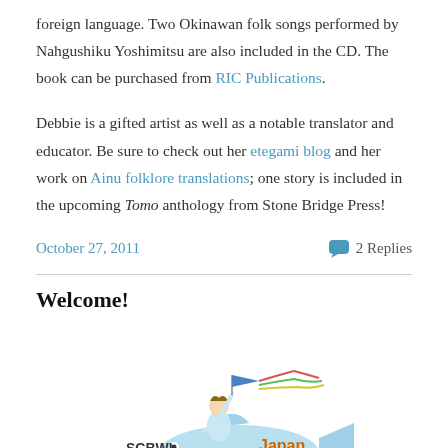foreign language. Two Okinawan folk songs performed by Nahgushiku Yoshimitsu are also included in the CD. The book can be purchased from RIC Publications.
Debbie is a gifted artist as well as a notable translator and educator. Be sure to check out her etegami blog and her work on Ainu folklore translations; one story is included in the upcoming Tomo anthology from Stone Bridge Press!
October 27, 2011   2 Replies
Welcome!
[Figure (illustration): SCBWI Japan logo illustration showing a child riding a large fish and waving a colorful flag, with text 'SCBWI Japan' where 'Japan' is in orange.]